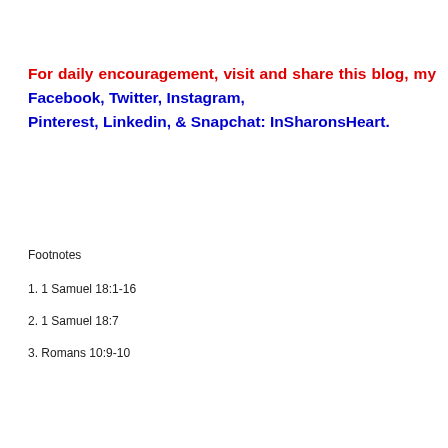For daily encouragement, visit and share this blog, my Facebook, Twitter, Instagram, Pinterest, Linkedin, & Snapchat: InSharonsHeart.
Footnotes
1. 1 Samuel 18:1-16
2. 1 Samuel 18:7
3. Romans 10:9-10